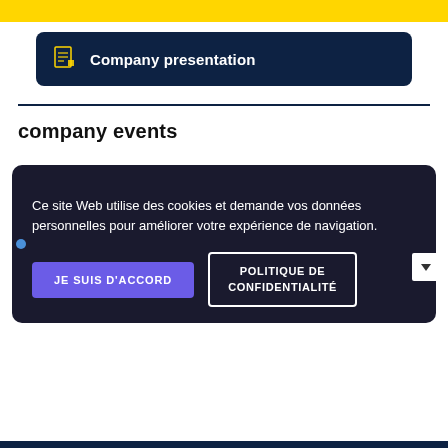[Figure (other): Yellow horizontal banner bar at top]
Company presentation
company events
Ce site Web utilise des cookies et demande vos données personnelles pour améliorer votre expérience de navigation.
JE SUIS D'ACCORD
POLITIQUE DE CONFIDENTIALITÉ